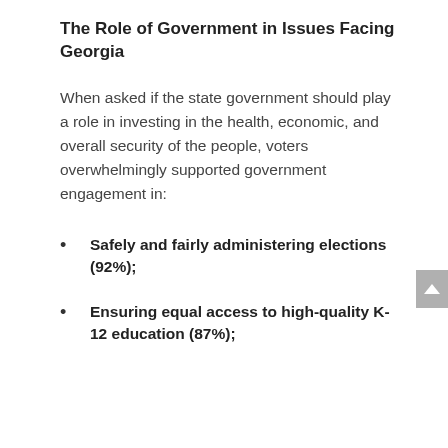The Role of Government in Issues Facing Georgia
When asked if the state government should play a role in investing in the health, economic, and overall security of the people, voters overwhelmingly supported government engagement in:
Safely and fairly administering elections (92%);
Ensuring equal access to high-quality K-12 education (87%);